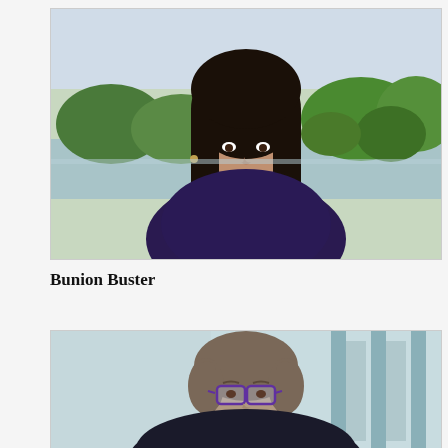[Figure (photo): A woman with long dark hair wearing a dark purple top and lanyard, standing outdoors in front of a lake and green trees. She appears to be speaking or being interviewed.]
Bunion Buster
[Figure (photo): A woman with short gray-brown hair wearing glasses and a dark top, standing indoors in front of a large glass window with a modern building visible in the background. She appears to be speaking or being interviewed.]